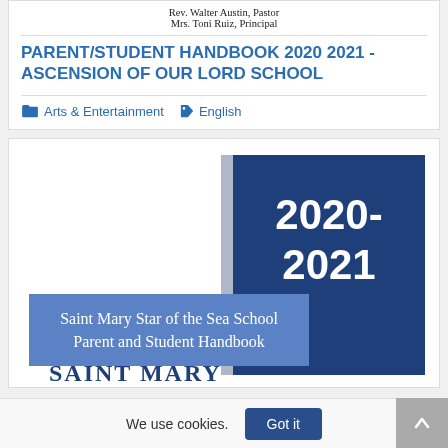Rev. Walter Austin, Pastor
Mrs. Toni Ruiz, Principal
PARENT/STUDENT HANDBOOK 2020 2021 - ASCENSION OF OUR LORD SCHOOL
Arts & Entertainment  English
[Figure (photo): Book cover for Saint Mary Star of the Sea School Parent and Student Handbook 2020-2021, showing a dark blue panel with '2020-2021' in white text and a lighter blue banner with school name]
We use cookies.  Got it